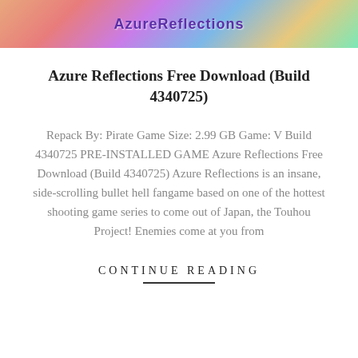[Figure (illustration): Banner image showing colorful anime-style artwork with the text 'Azure Reflections' partially visible at the top]
Azure Reflections Free Download (Build 4340725)
Repack By: Pirate Game Size: 2.99 GB Game: V Build 4340725 PRE-INSTALLED GAME Azure Reflections Free Download (Build 4340725) Azure Reflections is an insane, side-scrolling bullet hell fangame based on one of the hottest shooting game series to come out of Japan, the Touhou Project! Enemies come at you from
CONTINUE READING